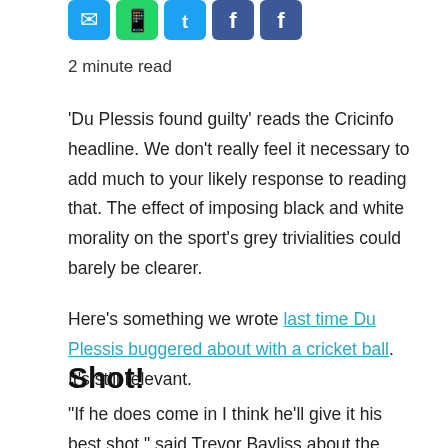[Figure (other): Row of social media sharing icon buttons: email, WhatsApp, Twitter, Facebook (x2)]
2 minute read
'Du Plessis found guilty' reads the Cricinfo headline. We don't really feel it necessary to add much to your likely response to reading that. The effect of imposing black and white morality on the sport's grey trivialities could barely be clearer.
Here's something we wrote last time Du Plessis buggered about with a cricket ball. It's still relevant.
Shot!
“If he does come in I think he’ll give it his best shot,” said Trevor Bayliss about the likely inclusion of Jos